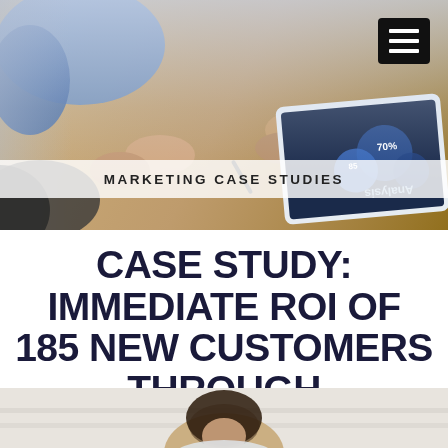[Figure (photo): Hero image showing two people at a wooden table, one person pointing at a tablet displaying an analytics dashboard with circular charts and 'Analysis' text visible upside down. The scene is viewed from above.]
MARKETING CASE STUDIES
CASE STUDY: IMMEDIATE ROI OF 185 NEW CUSTOMERS THROUGH STRATEGIC MARKETING: WALTER BAUMAN JEWELERS
[Figure (photo): Bottom portion of a photo showing a person (appears to be a woman with dark hair) in what looks like a bright retail or office setting.]